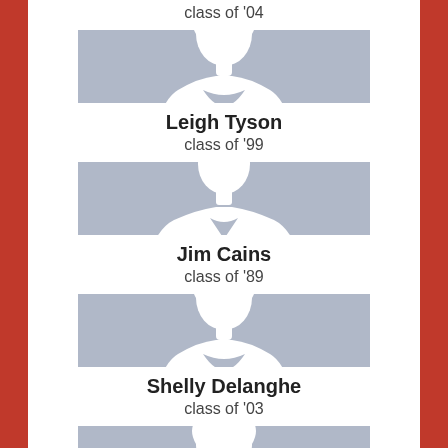class of '04
[Figure (illustration): Female silhouette placeholder avatar for Leigh Tyson]
Leigh Tyson
class of '99
[Figure (illustration): Male silhouette placeholder avatar for Jim Cains]
Jim Cains
class of '89
[Figure (illustration): Female silhouette placeholder avatar for Shelly Delanghe]
Shelly Delanghe
class of '03
[Figure (illustration): Partial silhouette placeholder avatar at bottom]